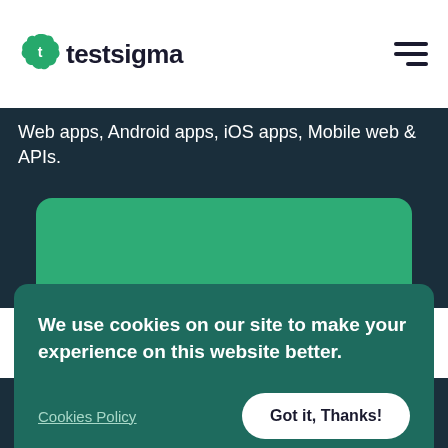testsigma
Web apps, Android apps, iOS apps, Mobile web & APIs.
[Figure (screenshot): Green rounded card with two button shapes at the bottom, displayed over a dark teal background]
We use cookies on our site to make your experience on this website better.
Cookies Policy
Got it, Thanks!